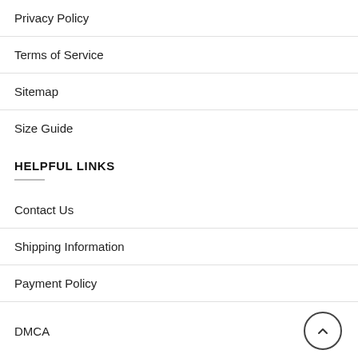Privacy Policy
Terms of Service
Sitemap
Size Guide
HELPFUL LINKS
Contact Us
Shipping Information
Payment Policy
DMCA
Legal